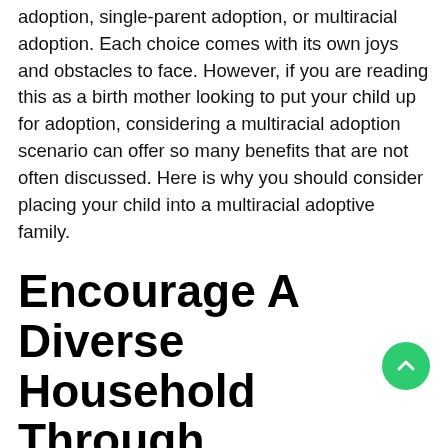adoption, single-parent adoption, or multiracial adoption. Each choice comes with its own joys and obstacles to face. However, if you are reading this as a birth mother looking to put your child up for adoption, considering a multiracial adoption scenario can offer so many benefits that are not often discussed. Here is why you should consider placing your child into a multiracial adoptive family.
Encourage A Diverse Household Through Multiracial Adoption
The thought of placing your child in a household that has a family of another race can seem intimidating, especially if you are a minority race considering